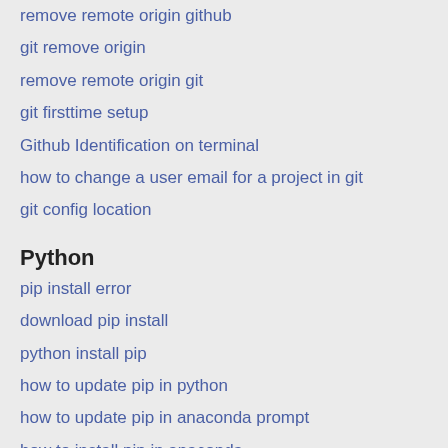remove remote origin github
git remove origin
remove remote origin git
git firsttime setup
Github Identification on terminal
how to change a user email for a project in git
git config location
Python
pip install error
download pip install
python install pip
how to update pip in python
how to update pip in anaconda prompt
how to install pip in anaconda